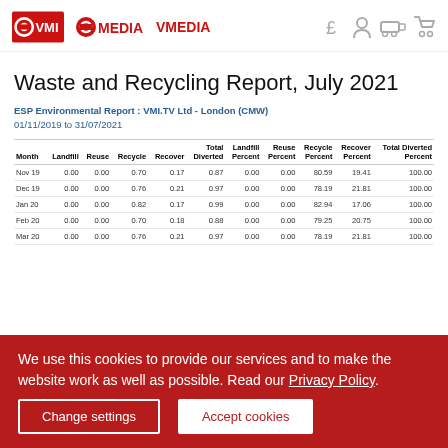VMI | OVMEDIA header with icons
Waste and Recycling Report, July 2021
ESP Environmental Report : VMI.TV Ltd - London (CMW)
01/11/2019 to 31/07/2021
| Month | Landfill | Reuse | Recycle | Recover | Total Diverted | Landfill Percent | Reuse Percent | Recycle Percent | Recover Percent | Total Diverted Percent |
| --- | --- | --- | --- | --- | --- | --- | --- | --- | --- | --- |
| Nov 19 | 0.00 | 0.00 | 0.70 | 0.17 | 0.87 | 0.00 | 0.00 | 80.59 | 19.41 | 100.00 |
| Dec 19 | 0.00 | 0.00 | 0.76 | 0.21 | 0.97 | 0.00 | 0.00 | 78.19 | 21.81 | 100.00 |
| Jan 20 | 0.00 | 0.00 | 0.82 | 0.17 | 0.99 | 0.00 | 0.00 | 82.94 | 17.06 | 100.00 |
| Feb 20 | 0.00 | 0.00 | 0.70 | 0.18 | 0.88 | 0.00 | 0.00 | 79.25 | 20.75 | 100.00 |
| Mar 20 | 0.00 | 0.00 | 0.76 | 0.21 | 0.97 | 0.00 | 0.00 | 78.19 | 21.81 | 100.00 |
We use this cookies to provide our services and to make the website work as well as possible. Read our Privacy Policy.
Change settings | Accept cookies